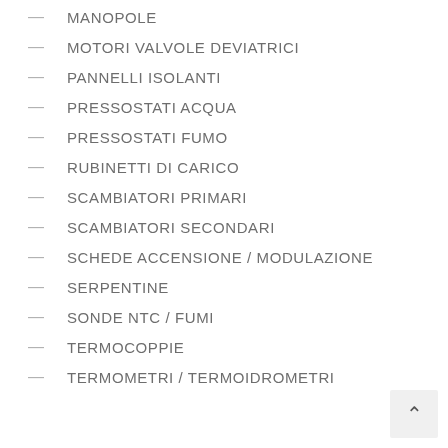MANOPOLE
MOTORI VALVOLE DEVIATRICI
PANNELLI ISOLANTI
PRESSOSTATI ACQUA
PRESSOSTATI FUMO
RUBINETTI DI CARICO
SCAMBIATORI PRIMARI
SCAMBIATORI SECONDARI
SCHEDE ACCENSIONE / MODULAZIONE
SERPENTINE
SONDE NTC / FUMI
TERMOCOPPIE
TERMOMETRI / TERMOIDROMETRI